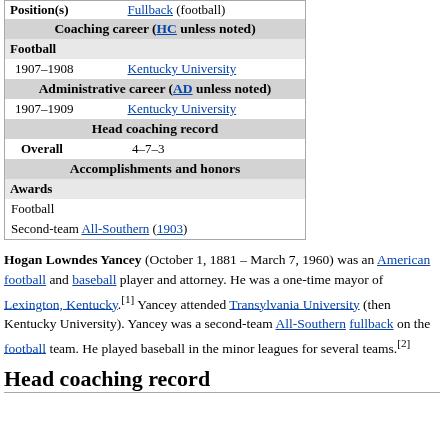| Position(s) | Fullback (football) |
| Coaching career (HC unless noted) |  |
| Football |  |
| 1907–1908 | Kentucky University |
| Administrative career (AD unless noted) |  |
| 1907–1909 | Kentucky University |
| Head coaching record |  |
| Overall | 4–7–3 |
| Accomplishments and honors |  |
| Awards |  |
| Football |  |
| Second-team All-Southern (1903) |  |
Hogan Lowndes Yancey (October 1, 1881 – March 7, 1960) was an American football and baseball player and attorney. He was a one-time mayor of Lexington, Kentucky.[1] Yancey attended Transylvania University (then Kentucky University). Yancey was a second-team All-Southern fullback on the football team. He played baseball in the minor leagues for several teams.[2]
Head coaching record